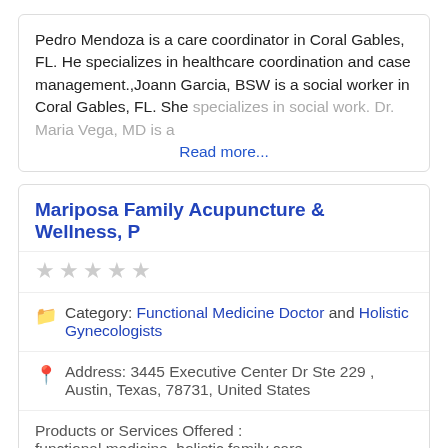Pedro Mendoza is a care coordinator in Coral Gables, FL. He specializes in healthcare coordination and case management.,Joann Garcia, BSW is a social worker in Coral Gables, FL. She specializes in social work. Dr. Maria Vega, MD is a [faded] Read more...
Mariposa Family Acupuncture & Wellness, P
★★★★★ (5 stars, empty)
Category: Functional Medicine Doctor and Holistic Gynecologists
Address: 3445 Executive Center Dr Ste 229 , Austin, Texas, 78731, United States
Products or Services Offered : functional medicine, holistic family care
Tammy Garcia, LAC is an acupuncturist in Austin